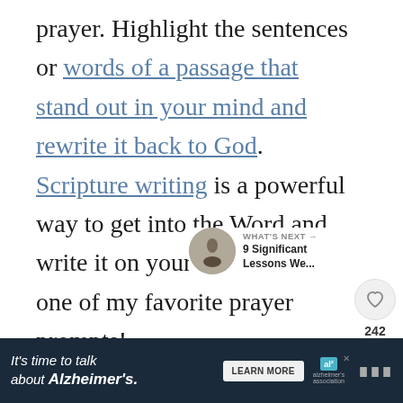prayer. Highlight the sentences or words of a passage that stand out in your mind and rewrite it back to God. Scripture writing is a powerful way to get into the Word and write it on your heart. This is one of my favorite prayer prompts!
[Figure (other): Heart/like icon button (circle with heart outline) and share icon button (circle with share symbol), with like count 242 between them]
[Figure (other): WHAT'S NEXT arrow label with thumbnail image and text: 9 Significant Lessons We...]
[Figure (other): Advertisement banner: It's time to talk about Alzheimer's. LEARN MORE button. Alzheimer's association logo.]